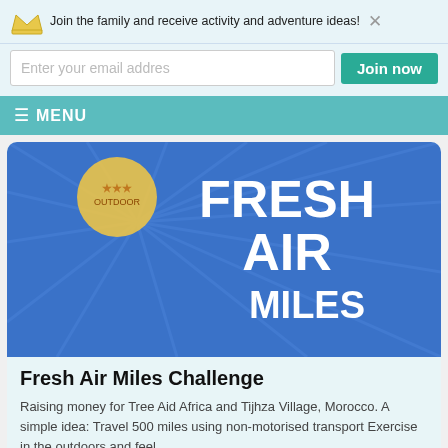Join the family and receive activity and adventure ideas!
[Figure (screenshot): Email signup banner with crown icon, email input field, Join now button, and close X button]
≡ MENU
[Figure (illustration): Blue banner image with radiating lines and large white text reading FRESH AIR MILES, with a circular logo top left]
Fresh Air Miles Challenge
Raising money for Tree Aid Africa and Tijhza Village, Morocco. A simple idea: Travel 500 miles using non-motorised transport Exercise in the outdoors and feel...
READ MORE >